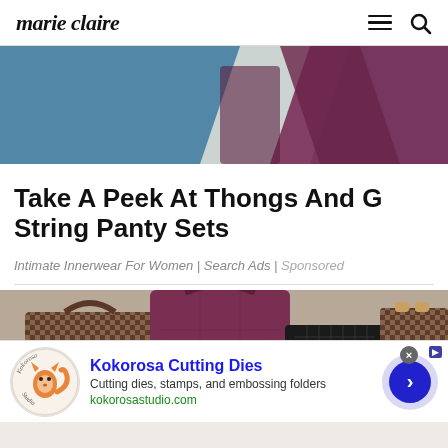marie claire
[Figure (photo): Partial view of a person wearing a dark maroon/burgundy outfit against a blue background, holding or wearing matching accessories]
Take A Peek At Thongs And G String Panty Sets
Intimate Innerwear For Women | Search Ads | Sponsored
[Figure (photo): Collection of luxury handbags including Louis Vuitton checkered bags, a burgundy large tote, a black quilted Chanel-style bag, and other designer bags arranged together]
Kokorosa Cutting Dies
Cutting dies, stamps, and embossing folders
kokorosastudio.com